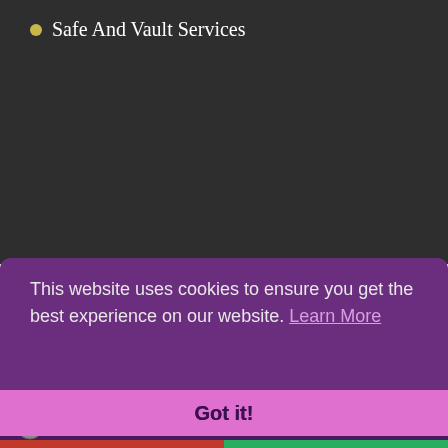Safe And Vault Services
This website uses cookies to ensure you get the best experience on our website. Learn More
Got it!